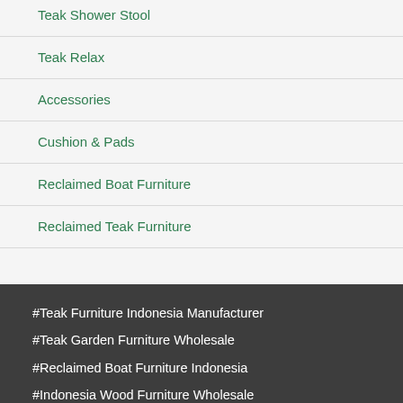Teak Shower Stool
Teak Relax
Accessories
Cushion & Pads
Reclaimed Boat Furniture
Reclaimed Teak Furniture
#Teak Furniture Indonesia Manufacturer
#Teak Garden Furniture Wholesale
#Reclaimed Boat Furniture Indonesia
#Indonesia Wood Furniture Wholesale
#Teak Outdoor Patio Furniture Manufacturer